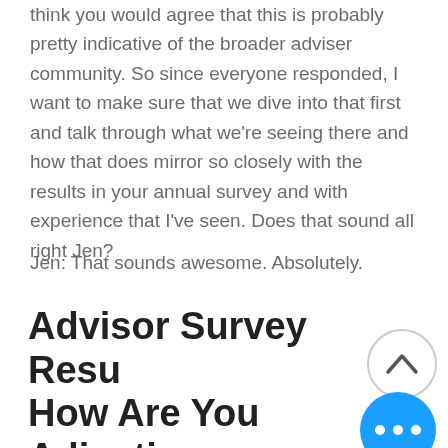think you would agree that this is probably pretty indicative of the broader adviser community. So since everyone responded, I want to make sure that we dive into that first and talk through what we're seeing there and how that does mirror so closely with the results in your annual survey and with experience that I've seen. Does that sound all right Jen?
Jen: That sounds awesome. Absolutely.
Advisor Survey Results: How Are You Adjusting To A Remote Work Environment?